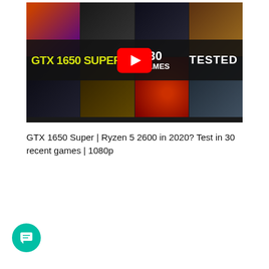[Figure (screenshot): YouTube video thumbnail for GTX 1650 Super | Ryzen 5 2600 in 2020? Test in 30 recent games | 1080p. Shows a collage of 8 game screenshots (2 rows of 4) with a dark overlay bar reading 'GTX 1650 SUPER' in yellow, '30 GAMES' in white, and 'TESTED' in white. A red YouTube play button is centered on the image.]
GTX 1650 Super | Ryzen 5 2600 in 2020? Test in 30 recent games | 1080p
[Figure (illustration): Teal circular chat/message button icon in the bottom left corner]